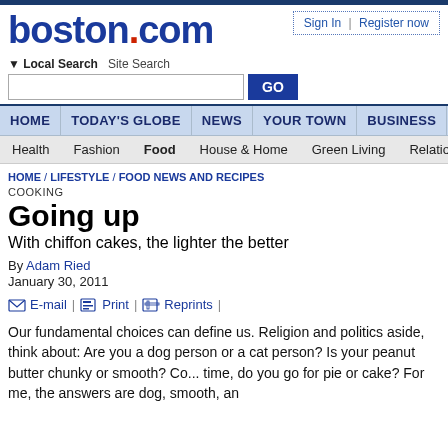boston.com
Sign In | Register now
Local Search   Site Search
HOME | TODAY'S GLOBE | NEWS | YOUR TOWN | BUSINESS | SPOR
Health | Fashion | Food | House & Home | Green Living | Relationships
HOME / LIFESTYLE / FOOD NEWS AND RECIPES
COOKING
Going up
With chiffon cakes, the lighter the better
By Adam Ried
January 30, 2011
E-mail | Print | Reprints |
Our fundamental choices can define us. Religion and politics aside, think about: Are you a dog person or a cat person? Is your peanut butter chunky or smooth? Co... time, do you go for pie or cake? For me, the answers are dog, smooth, an